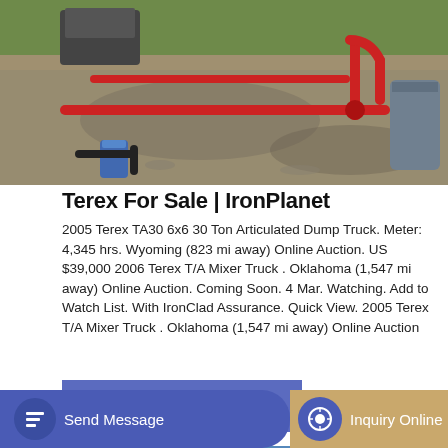[Figure (photo): Construction site photo showing red pipes and hoses on gravel ground, with machinery and equipment in background]
Terex For Sale | IronPlanet
2005 Terex TA30 6x6 30 Ton Articulated Dump Truck. Meter: 4,345 hrs. Wyoming (823 mi away) Online Auction. US $39,000 2006 Terex T/A Mixer Truck . Oklahoma (1,547 mi away) Online Auction. Coming Soon. 4 Mar. Watching. Add to Watch List. With IronClad Assurance. Quick View. 2005 Terex T/A Mixer Truck . Oklahoma (1,547 mi away) Online Auction
[Figure (photo): Industrial equipment photo with blue sky and clouds in background, showing mixer trucks or similar heavy equipment]
GET A QUOTE
Send Message
Inquiry Online